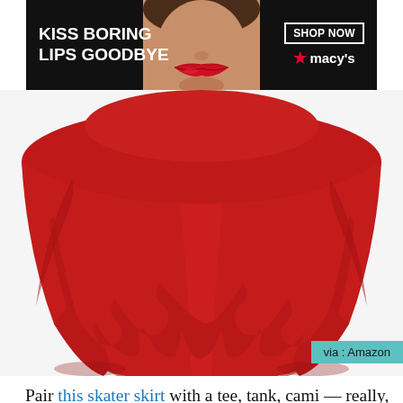[Figure (photo): Advertisement banner for Macy's with text 'KISS BORING LIPS GOODBYE', image of woman's face/lips, 'SHOP NOW' button, and Macy's star logo on dark background]
[Figure (photo): Red skater skirt product photo on white background, with 'via : Amazon' label in teal at bottom right]
Pair this skater skirt with a tee, tank, cami — really, almost everything in my closet works with it. And since there are dozens of colors to choose from, you won't have any trouble matching it to your existing wardrobe. View on Amazon